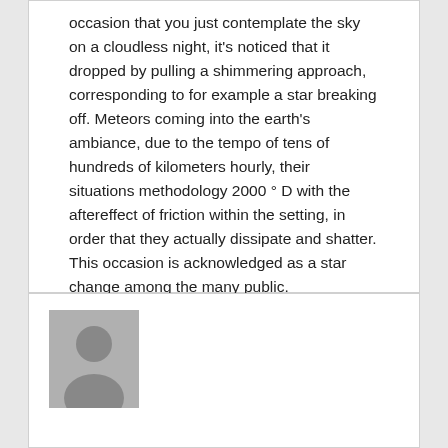occasion that you just contemplate the sky on a cloudless night, it's noticed that it dropped by pulling a shimmering approach, corresponding to for example a star breaking off. Meteors coming into the earth's ambiance, due to the tempo of tens of hundreds of kilometers hourly, their situations methodology 2000 ° D with the aftereffect of friction within the setting, in order that they actually dissipate and shatter. This occasion is acknowledged as a star change among the many public.
Posted in Space  ·
[Figure (photo): Default user avatar placeholder showing a grey silhouette of a person on a grey background]